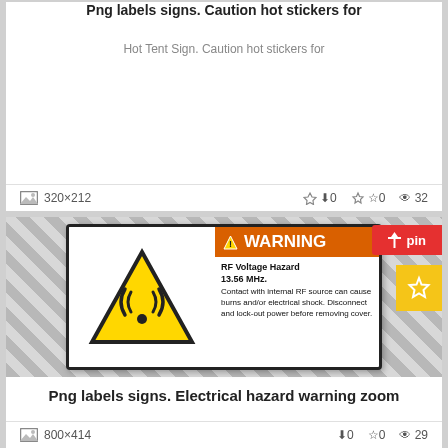Png labels signs. Caution hot stickers for
Hot Tent Sign. Caution hot stickers for
320×212  ⬇0  ☆0  👁32
[Figure (photo): Warning label: RF Voltage Hazard 13.56 MHz. Contact with internal RF source can cause burns and/or electrical shock. Disconnect and lock-out power before removing cover. Yellow triangle with RF signal icon on left, orange WARNING header on right.]
Png labels signs. Electrical hazard warning zoom
Zoom, Price, Buy. Electrical hazard warning zoom
800×414  ⬇0  ☆0  👁29